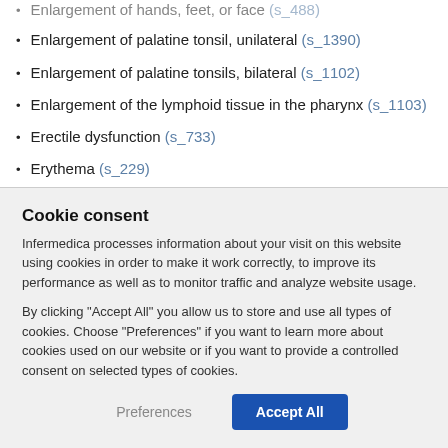Enlargement of hands, feet, or face (s_488)
Enlargement of palatine tonsil, unilateral (s_1390)
Enlargement of palatine tonsils, bilateral (s_1102)
Enlargement of the lymphoid tissue in the pharynx (s_1103)
Erectile dysfunction (s_733)
Erythema (s_229)
Erythema migrans (s_202)
Erythema marginatum (s_758) [partially visible]
Cookie consent
Infermedica processes information about your visit on this website using cookies in order to make it work correctly, to improve its performance as well as to monitor traffic and analyze website usage.
By clicking “Accept All” you allow us to store and use all types of cookies. Choose “Preferences” if you want to learn more about cookies used on our website or if you want to provide a controlled consent on selected types of cookies.